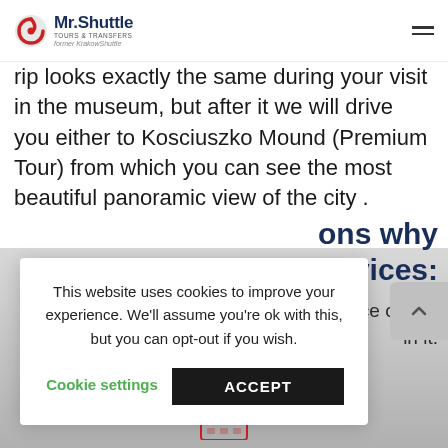Mr. Shuttle Tours & Transfers — former KrakowShuttle
rip looks exactly the same during your visit in the museum, but after it we will drive you either to Kosciuszko Mound (Premium Tour) from which you can see the most beautiful panoramic view of the city .
ons why rvices:
ce on the in it.
This website uses cookies to improve your experience. We'll assume you're ok with this, but you can opt-out if you wish.
Cookie settings   ACCEPT